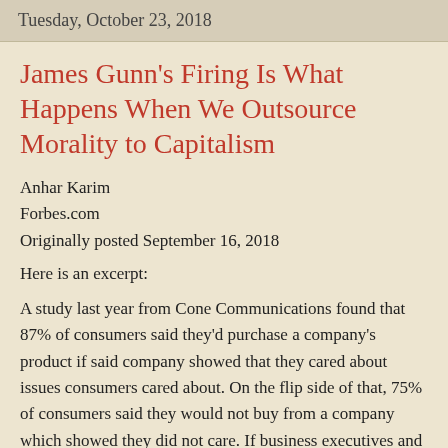Tuesday, October 23, 2018
James Gunn's Firing Is What Happens When We Outsource Morality to Capitalism
Anhar Karim
Forbes.com
Originally posted September 16, 2018
Here is an excerpt:
A study last year from Cone Communications found that 87% of consumers said they'd purchase a company's product if said company showed that they cared about issues consumers cared about. On the flip side of that, 75% of consumers said they would not buy from a company which showed they did not care. If business executives and CEOs are following along, as they surely are, the lesson is this: If a company wants to stay on top in the modern age,